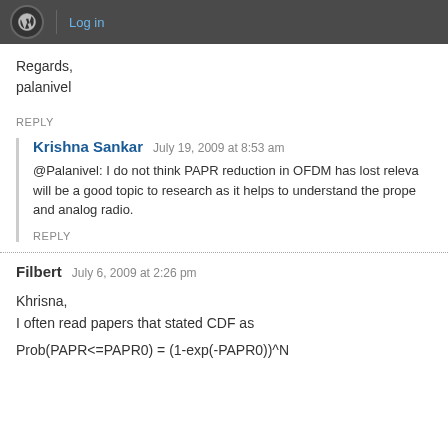Log in
Regards,
palanivel
REPLY
Krishna Sankar   July 19, 2009 at 8:53 am
@Palanivel: I do not think PAPR reduction in OFDM has lost releva… will be a good topic to research as it helps to understand the prope… and analog radio.
REPLY
Filbert   July 6, 2009 at 2:26 pm
Khrisna,
I often read papers that stated CDF as